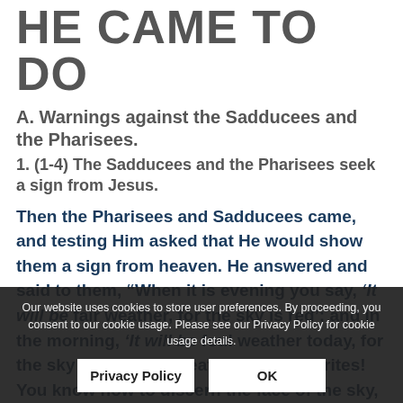HE CAME TO DO
A. Warnings against the Sadducees and the Pharisees.
1. (1-4) The Sadducees and the Pharisees seek a sign from Jesus.
Then the Pharisees and Sadducees came, and testing Him asked that He would show them a sign from heaven. He answered and said to them, “When it is evening you say, ‘It will be fair weather, for the sky is red’; and in the morning, ‘It will be foul weather today, for the sky is red and threatening.’ Hypocrites! You know how to discern the face of the sky, but you cannot discern the signs of the times. A wicked and adulterous generation seeks after a sign, and no sign shall be given to it except the sign of the prophet Jonah.” And He left them and departed
Our website uses cookies to store user preferences. By proceeding, you consent to our cookie usage. Please see our Privacy Policy for cookie usage details.